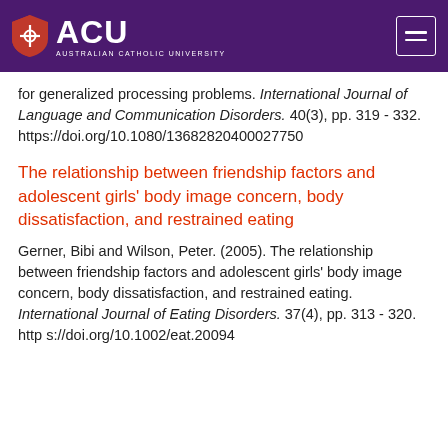[Figure (logo): ACU Australian Catholic University logo on purple header background with hamburger menu icon]
for generalized processing problems. International Journal of Language and Communication Disorders. 40(3), pp. 319 - 332. https://doi.org/10.1080/13682820400027750
The relationship between friendship factors and adolescent girls' body image concern, body dissatisfaction, and restrained eating
Gerner, Bibi and Wilson, Peter. (2005). The relationship between friendship factors and adolescent girls' body image concern, body dissatisfaction, and restrained eating. International Journal of Eating Disorders. 37(4), pp. 313 - 320. https://doi.org/10.1002/eat.20094